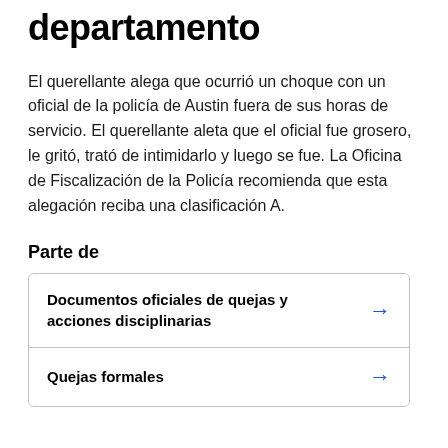departamento
El querellante alega que ocurrió un choque con un oficial de la policía de Austin fuera de sus horas de servicio. El querellante aleta que el oficial fue grosero, le gritó, trató de intimidarlo y luego se fue. La Oficina de Fiscalización de la Policía recomienda que esta alegación reciba una clasificación A.
Parte de
| Documentos oficiales de quejas y acciones disciplinarias | → |
| Quejas formales | → |